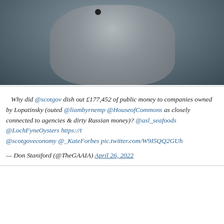[Figure (photo): Cropped photograph of a person wearing a grey top with a microphone/lapel clip visible, viewed from neck/chest area upward, dark background]
Why did @scotgov dish out £177,452 of public money to companies owned by Lopatinsky (outed @liambyrnemp @HouseofCommons as closely connected to agencies & dirty Russian money)? @asl_seafoods @LochFyneOysters https://t… @scotgoveconomy @_KateForbes pic.twitter.com/W9I5QQ2GUh
— Don Staniford (@TheGAAIA) April 26, 2022